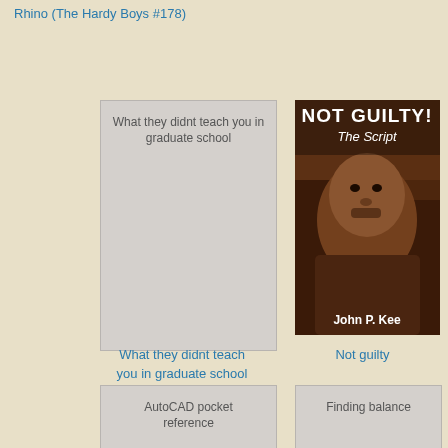Rhino (The Hardy Boys #178)
[Figure (illustration): Book cover placeholder for 'What they didnt teach you in graduate school']
[Figure (photo): Book cover for 'Not Guilty! The Script' by John P. Kee - shows a man's portrait]
What they didnt teach you in graduate school
Not guilty
[Figure (illustration): Book cover placeholder for 'AutoCAD pocket reference']
[Figure (illustration): Book cover placeholder for 'Finding balance']